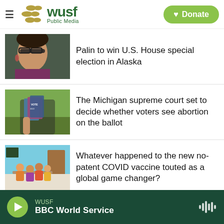[Figure (logo): WUSF Public Media logo with golden oval dots and green text, hamburger menu icon on left, green Donate button with heart on right]
[Figure (photo): Photo of a woman with glasses, partial face visible]
Palin to win U.S. House special election in Alaska
[Figure (photo): Person holding pamphlets or books outdoors]
The Michigan supreme court set to decide whether voters see abortion on the ballot
[Figure (photo): Group of people gathered around a table in a colorful room]
Whatever happened to the new no-patent COVID vaccine touted as a global game changer?
WUSF BBC World Service